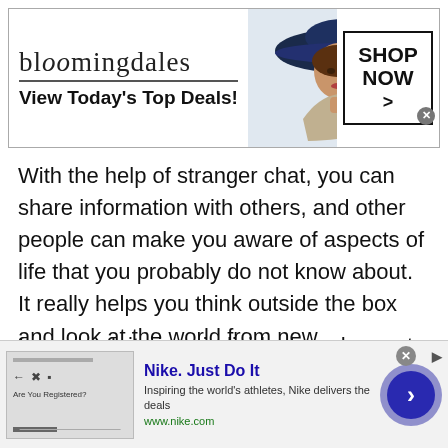[Figure (screenshot): Bloomingdale's banner advertisement with logo, model wearing blue hat, and 'SHOP NOW >' button]
With the help of stranger chat, you can share information with others, and other people can make you aware of aspects of life that you probably do not know about. It really helps you think outside the box and look at the world from new perspectives which is quite helpful in establishing new relations as well as strengthening existing ones.
In general, it gives individuals a chance to share information, and why shouldn't they? It is the information
[Figure (screenshot): Nike 'Just Do It' advertisement with tagline 'Inspiring the world's athletes, Nike delivers the deals' and www.nike.com URL with circular arrow button]